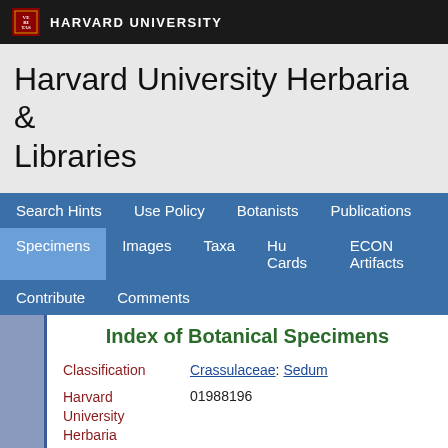HARVARD UNIVERSITY
Harvard University Herbaria & Libraries
Search Hints  Use Policy  Botanists  Publications  Specimens  Images  Taxa  Hu Cards  ECON Artifacts  Contribute  Comments
Index of Botanical Specimens
| Field | Value |
| --- | --- |
| Classification | Crassulaceae: Sedum |
| Harvard University Herbaria Barcode(s) | 01988196 |
| Collector | J. B. Patten |
| Country | Switzerland |
| Geography | Europe: Europe (Region) (Region): Switzerland |
| Locality | Basel |
| Date | 1808-05-20 |